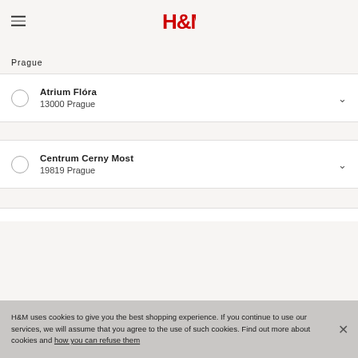H&M
Prague
Atrium Flóra
13000 Prague
Centrum Cerny Most
19819 Prague
H&M uses cookies to give you the best shopping experience. If you continue to use our services, we will assume that you agree to the use of such cookies. Find out more about cookies and how you can refuse them